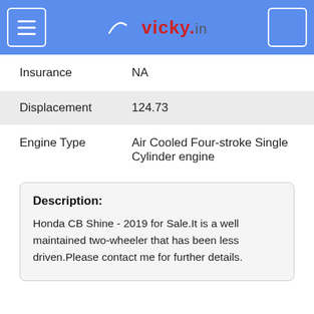vicky.in
| Insurance | NA |
| Displacement | 124.73 |
| Engine Type | Air Cooled Four-stroke Single Cylinder engine |
Description:
Honda CB Shine - 2019 for Sale.It is a well maintained two-wheeler that has been less driven.Please contact me for further details.